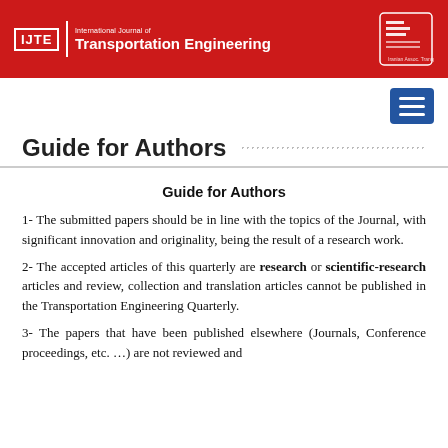IJTE | International Journal of Transportation Engineering
Guide for Authors
Guide for Authors
1- The submitted papers should be in line with the topics of the Journal, with significant innovation and originality, being the result of a research work.
2- The accepted articles of this quarterly are research or scientific-research articles and review, collection and translation articles cannot be published in the Transportation Engineering Quarterly.
3- The papers that have been published elsewhere (Journals, Conference proceedings, etc. …) are not reviewed and